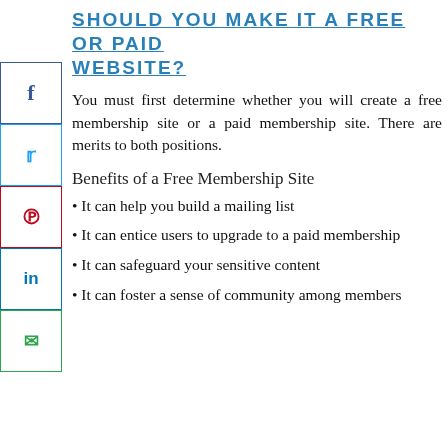SHOULD YOU MAKE IT A FREE OR PAID WEBSITE?
[Figure (illustration): Social media sharing sidebar buttons: Facebook (blue), Twitter (blue), Pinterest (red), LinkedIn (blue), Email (green)]
You must first determine whether you will create a free membership site or a paid membership site. There are merits to both positions.
Benefits of a Free Membership Site
It can help you build a mailing list
It can entice users to upgrade to a paid membership
It can safeguard your sensitive content
It can foster a sense of community among members